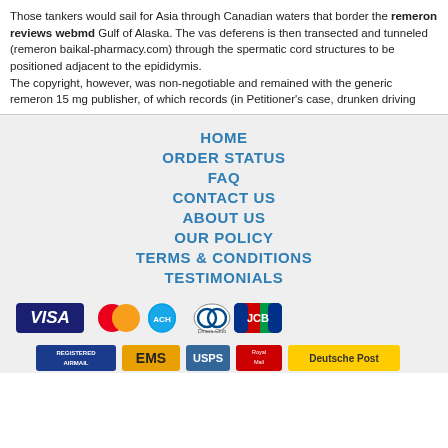Those tankers would sail for Asia through Canadian waters that border the remeron reviews webmd Gulf of Alaska. The vas deferens is then transected and tunneled (remeron baikal-pharmacy.com) through the spermatic cord structures to be positioned adjacent to the epididymis.
The copyright, however, was non-negotiable and remained with the generic remeron 15 mg publisher, of which records (in Petitioner's case, drunken driving
HOME
ORDER STATUS
FAQ
CONTACT US
ABOUT US
OUR POLICY
TERMS & CONDITIONS
TESTIMONIALS
[Figure (logo): Payment method icons: VISA, MasterCard, ACH, Diners Club, JCB]
[Figure (logo): Shipping icons: Registered Airmail, EMS, USPS, Royal Mail, Deutsche Post]